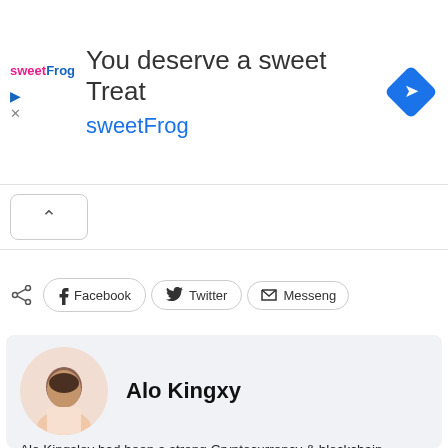[Figure (illustration): SweetFrog advertisement banner with logo, navigation diamond icon, and text 'You deserve a sweet Treat' and 'sweetFrog']
Facebook    Twitter    Messeng
Alo Kingxy
Alo Kingsley had been a strong Cryptocurrency & blockchain enthusiast with immense interest for privacy , and masternode coins, and a passionate Cryptocurrency article writer and marketer